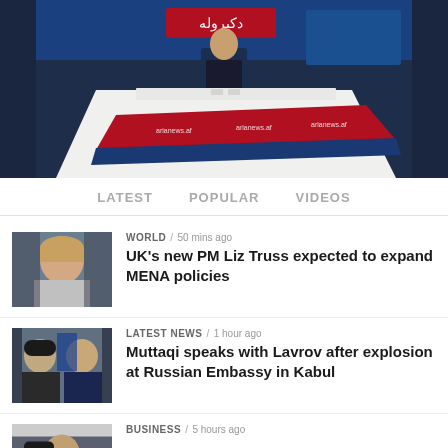[Figure (photo): TV news studio with anchor desk, red and blue branded panels with Ariana News logos, news anchor seated in background, blue screen backdrop]
LATEST   POPULAR   VIDEOS
[Figure (photo): Thumbnail of Liz Truss]
WORLD / 50 mins ago
UK's new PM Liz Truss expected to expand MENA policies
[Figure (photo): Thumbnail of two men in diplomatic meeting]
LATEST NEWS / 1 hour ago
Muttaqi speaks with Lavrov after explosion at Russian Embassy in Kabul
[Figure (photo): Thumbnail partial image]
BUSINESS / 5 hours ago